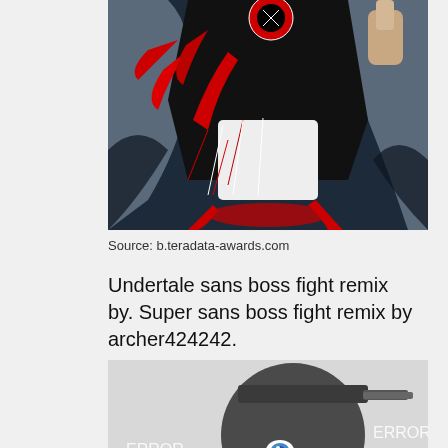[Figure (illustration): Anime-style illustration of a character with red and black coloring, with an X-eyes circle symbol, holding something, with red splatter effects on a dark background.]
Source: b.teradata-awards.com
Undertale sans boss fight remix by. Super sans boss fight remix by archer424242.
[Figure (illustration): Anime-style illustration of an 'ERROR' character with a dark round head, blue eyes, red elements, and 'ERROR' text overlaid in italic, on a light background.]